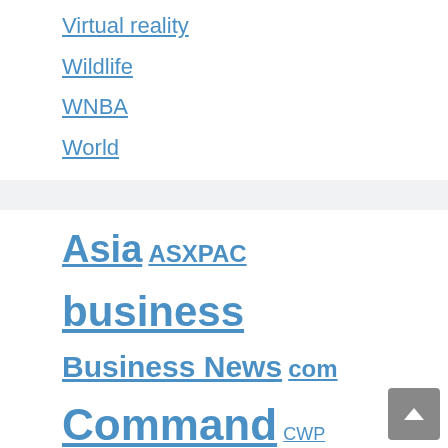Virtual reality
Wildlife
WNBA
World
Asia ASXPAC business Business News com Command CWP daily Mail dcc EMRG entertainment Europe Football GB GEN general news golf Inflation MCE Motley asshole MTPIX MTVID NBA news News 1 newsletter NHL pee personal financing Policy